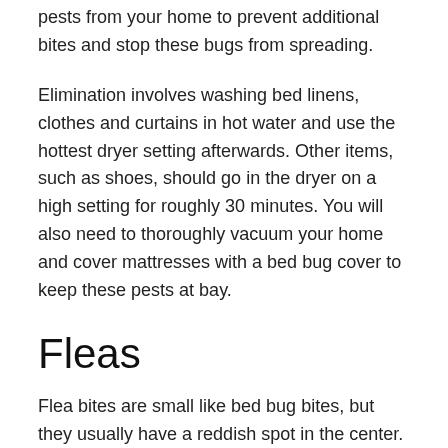pests from your home to prevent additional bites and stop these bugs from spreading.
Elimination involves washing bed linens, clothes and curtains in hot water and use the hottest dryer setting afterwards. Other items, such as shoes, should go in the dryer on a high setting for roughly 30 minutes. You will also need to thoroughly vacuum your home and cover mattresses with a bed bug cover to keep these pests at bay.
Fleas
Flea bites are small like bed bug bites, but they usually have a reddish spot in the center. In some cases, blisters form around the bites. You will normally find flea bites around the ankles and feet, although they